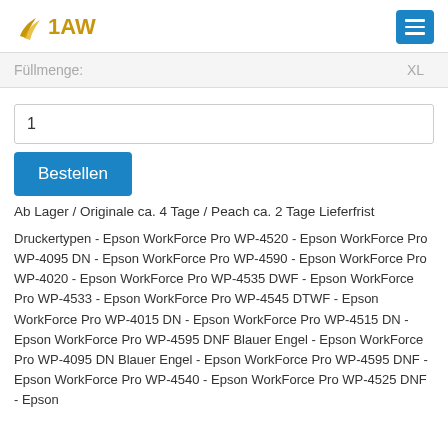1AW
| Fullmenge: | XL |
| --- | --- |
1
Bestellen
Ab Lager / Originale ca. 4 Tage / Peach ca. 2 Tage Lieferfrist
Druckertypen - Epson WorkForce Pro WP-4520 - Epson WorkForce Pro WP-4095 DN - Epson WorkForce Pro WP-4590 - Epson WorkForce Pro WP-4020 - Epson WorkForce Pro WP-4535 DWF - Epson WorkForce Pro WP-4533 - Epson WorkForce Pro WP-4545 DTWF - Epson WorkForce Pro WP-4015 DN - Epson WorkForce Pro WP-4515 DN - Epson WorkForce Pro WP-4595 DNF Blauer Engel - Epson WorkForce Pro WP-4095 DN Blauer Engel - Epson WorkForce Pro WP-4595 DNF - Epson WorkForce Pro WP-4540 - Epson WorkForce Pro WP-4525 DNF - Epson